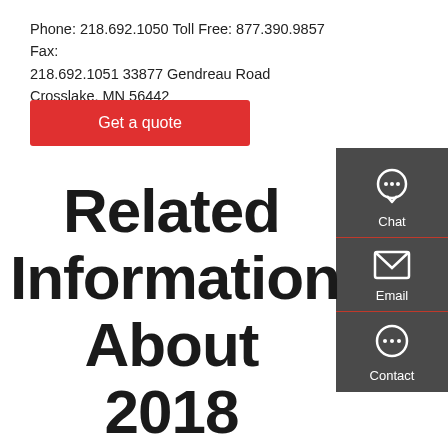Phone: 218.692.1050 Toll Free: 877.390.9857 Fax: 218.692.1051 33877 Gendreau Road Crosslake, MN 56442
Get a quote
[Figure (infographic): Dark grey sidebar with Chat, Email, and Contact icons stacked vertically, separated by red dividers]
Related Information About 2018 Brushwolf Excavators And